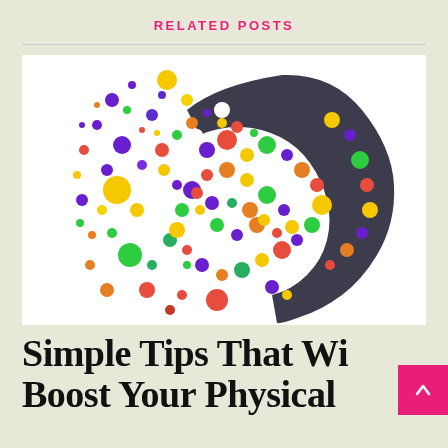RELATED POSTS
[Figure (illustration): Colorful illustration of a human head profile filled with and surrounded by multicolored polka dots/circles of various sizes (red, yellow, green, blue, purple, orange) on a white background, representing a brain full of ideas.]
Simple Tips That Will Boost Your Physical